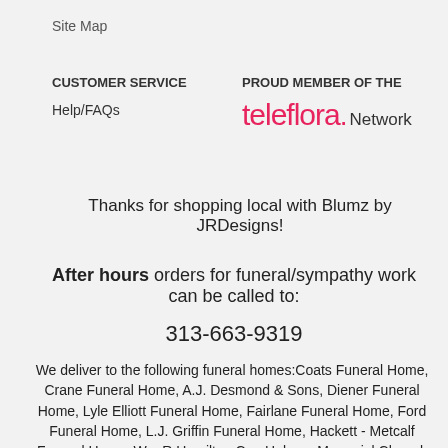Site Map
CUSTOMER SERVICE
Help/FAQs
PROUD MEMBER OF THE
teleflora. Network
Thanks for shopping local with Blumz by JRDesigns!
After hours orders for funeral/sympathy work can be called to:
313-663-9319
We deliver to the following funeral homes:Coats Funeral Home, Crane Funeral Home, A.J. Desmond & Sons, Diener Funeral Home, Lyle Elliott Funeral Home, Fairlane Funeral Home, Ford Funeral Home, L.J. Griffin Funeral Home, Hackett - Metcalf Funeral Home, Wm R Hamilton Co., Hebrew Memorial Chapel, Heeney - Sundquist Funeral Home, Hopcroft Funeral Home, Howe - Peterson Funeral Home, James Cole Funeral